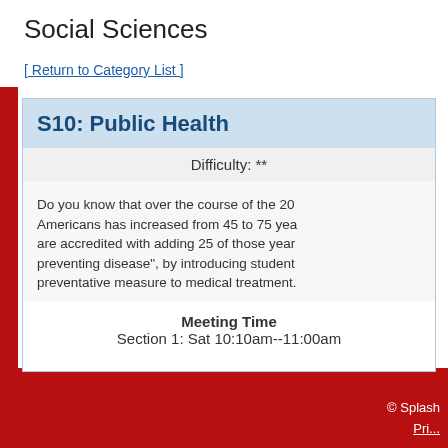Social Sciences
[ Return to Category List ]
S10: Public Health
Difficulty: **
Do you know that over the course of the 20... Americans has increased from 45 to 75 yea... are accredited with adding 25 of those year... preventing disease", by introducing student... preventative measure to medical treatment.
Meeting Time
Section 1: Sat 10:10am--11:00am
© Splash
Pri...